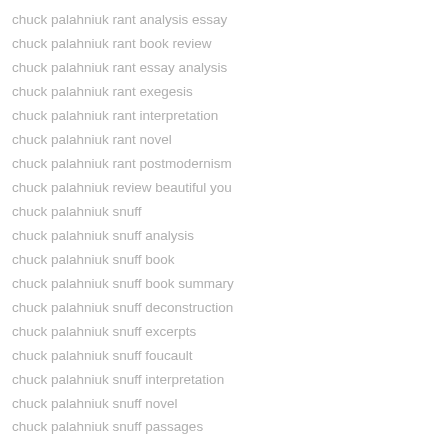chuck palahniuk rant analysis essay
chuck palahniuk rant book review
chuck palahniuk rant essay analysis
chuck palahniuk rant exegesis
chuck palahniuk rant interpretation
chuck palahniuk rant novel
chuck palahniuk rant postmodernism
chuck palahniuk review beautiful you
chuck palahniuk snuff
chuck palahniuk snuff analysis
chuck palahniuk snuff book
chuck palahniuk snuff book summary
chuck palahniuk snuff deconstruction
chuck palahniuk snuff excerpts
chuck palahniuk snuff foucault
chuck palahniuk snuff interpretation
chuck palahniuk snuff novel
chuck palahniuk snuff passages